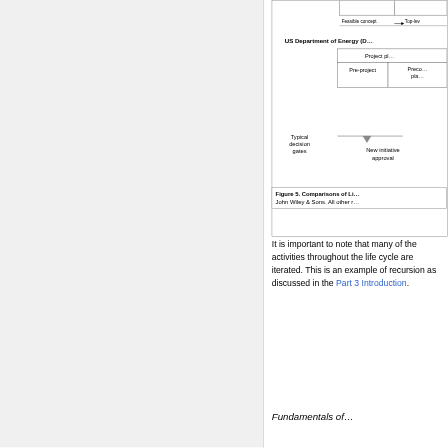[Figure (schematic): Partial view of a comparison diagram showing US Department of Energy (DOE) project phases including Pre-project and Preconceptual planning columns, with 'Feasible concept → Top-level' arrow label and 'Typical decision gates / New initiative approval' labels with arrow.]
Figure 5. Comparisons of Li... John Wiley & Sons. All other r...
It is important to note that many of the activities throughout the life cycle are iterated. This is an example of recursion as discussed in the Part 3 Introduction.
Fundamentals of...